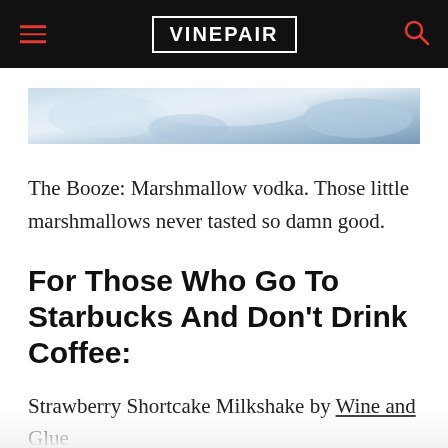VINEPAIR
[Figure (photo): Partial view of pastel-colored candy or marshmallow treats against a light background]
The Booze: Marshmallow vodka. Those little marshmallows never tasted so damn good.
For Those Who Go To Starbucks And Don't Drink Coffee:
Strawberry Shortcake Milkshake by Wine and Glue